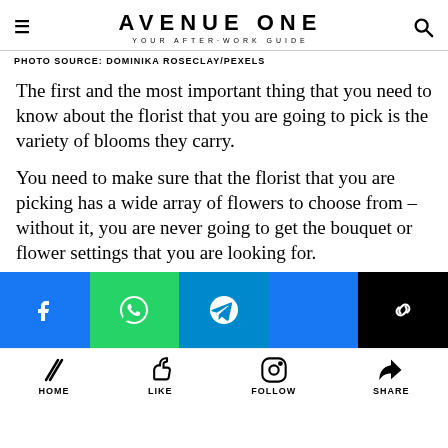AVENUE ONE — YOUR AFTER-WORK GUIDE
PHOTO SOURCE: DOMINIKA ROSECLAY/PEXELS
The first and the most important thing that you need to know about the florist that you are going to pick is the variety of blooms they carry.
You need to make sure that the florist that you are picking has a wide array of flowers to choose from – without it, you are never going to get the bouquet or flower settings that you are looking for.
[Figure (infographic): Social sharing bar with icons for Facebook, WhatsApp, Telegram, Facebook, and link copy]
[Figure (infographic): Bottom navigation bar with HOME, LIKE, FOLLOW, SHARE icons]